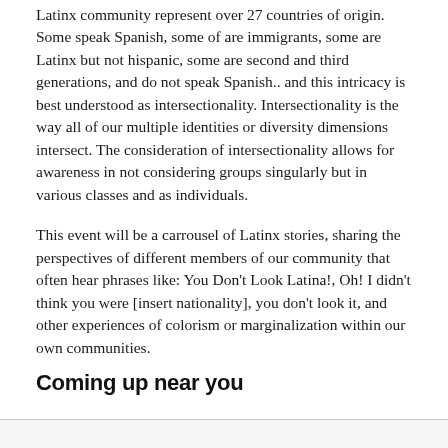Latinx community represent over 27 countries of origin. Some speak Spanish, some of are immigrants, some are Latinx but not hispanic, some are second and third generations, and do not speak Spanish.. and this intricacy is best understood as intersectionality. Intersectionality is the way all of our multiple identities or diversity dimensions intersect. The consideration of intersectionality allows for awareness in not considering groups singularly but in various classes and as individuals.
This event will be a carrousel of Latinx stories, sharing the perspectives of different members of our community that often hear phrases like: You Don't Look Latina!, Oh! I didn't think you were [insert nationality], you don't look it, and other experiences of colorism or marginalization within our own communities.
Coming up near you